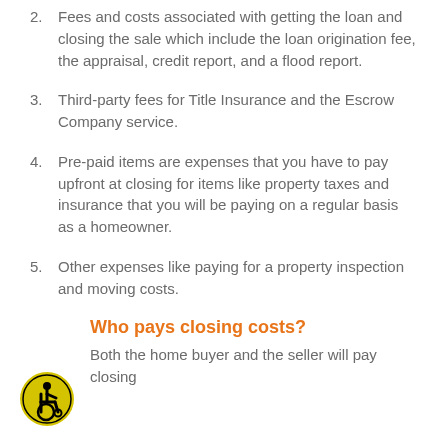2. Fees and costs associated with getting the loan and closing the sale which include the loan origination fee, the appraisal, credit report, and a flood report.
3. Third-party fees for Title Insurance and the Escrow Company service.
4. Pre-paid items are expenses that you have to pay upfront at closing for items like property taxes and insurance that you will be paying on a regular basis as a homeowner.
5. Other expenses like paying for a property inspection and moving costs.
Who pays closing costs?
Both the home buyer and the seller will pay closing